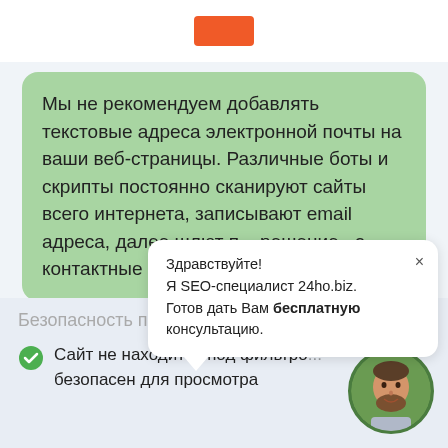[Figure (logo): Orange rectangle logo/button at top center]
Мы не рекомендуем добавлять текстовые адреса электронной почты на ваши веб-страницы. Различные боты и скрипты постоянно сканируют сайты всего интернета, записывают email адреса, далее шлют п... решение - э... контактные ф...
Здравствуйте!
Я SEO-специалист 24ho.biz.
Готов дать Вам бесплатную консультацию.
Безопасность просмотра
Сайт не находится под фильтро... безопасен для просмотра
[Figure (photo): Circular avatar photo of a man with beard]